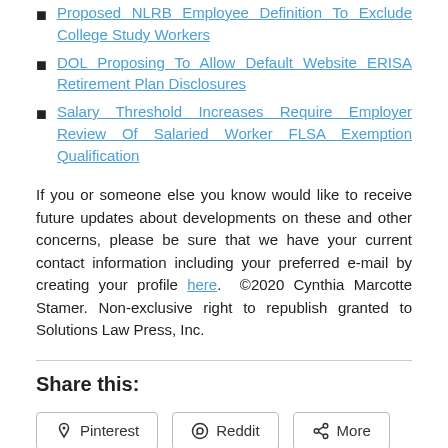Proposed NLRB Employee Definition To Exclude College Study Workers
DOL Proposing To Allow Default Website ERISA Retirement Plan Disclosures
Salary Threshold Increases Require Employer Review Of Salaried Worker FLSA Exemption Qualification
If you or someone else you know would like to receive future updates about developments on these and other concerns, please be sure that we have your current contact information including your preferred e-mail by creating your profile here.  ©2020 Cynthia Marcotte Stamer. Non-exclusive right to republish granted to Solutions Law Press, Inc.
Share this:
Pinterest  Reddit  More